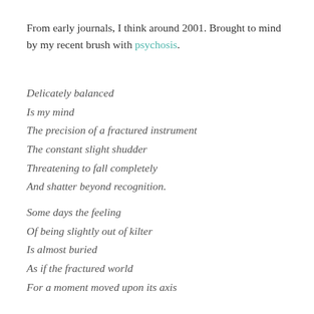From early journals, I think around 2001. Brought to mind by my recent brush with psychosis.
Delicately balanced
Is my mind
The precision of a fractured instrument
The constant slight shudder
Threatening to fall completely
And shatter beyond recognition.
Some days the feeling
Of being slightly out of kilter
Is almost buried
As if the fractured world
For a moment moved upon its axis